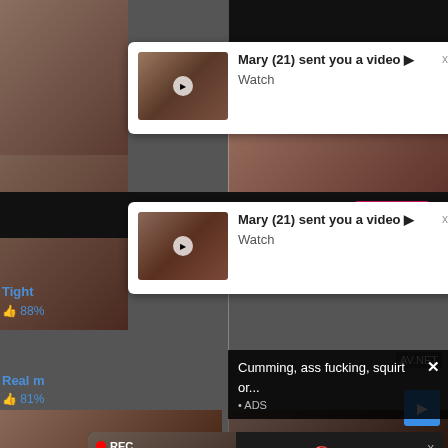[Figure (screenshot): Adult content website screenshot showing video thumbnails in background]
Mary (21) sent you a video ▶
Watch
WHAT DO YOU WANT?
WATCH
Mary (21) sent you a video ▶
Watch
Tight
88%
Cumming, ass fucking, squirt or...
• ADS
ADS • 🔞 Dating for men! Find bad girls here 🔞
REC
Real m
81%
AV.NET